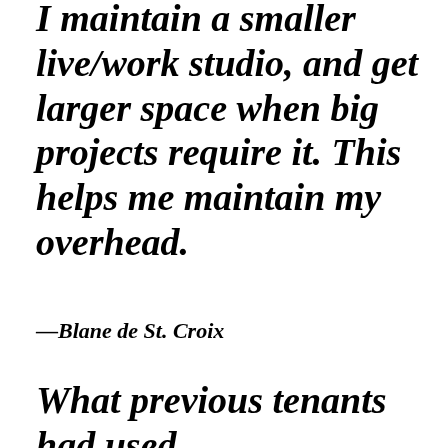I maintain a smaller live/work studio, and get larger space when big projects require it. This helps me maintain my overhead.
—Blane de St. Croix
What previous tenants had used for distinct